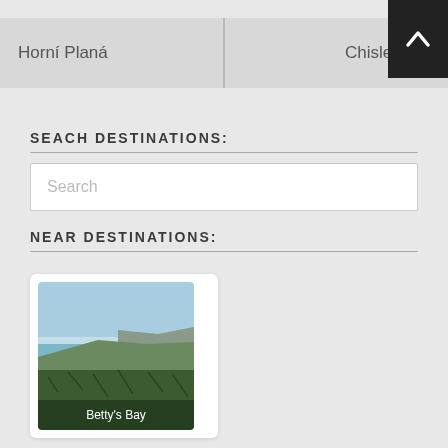Horní Planá
Chislehurst
SEACH DESTINATIONS:
Search
NEAR DESTINATIONS:
[Figure (photo): Coastal landscape photo labeled Betty's Bay, showing blue sky, ocean, beach, green hillside vegetation and mountain range in background.]
Betty's Bay